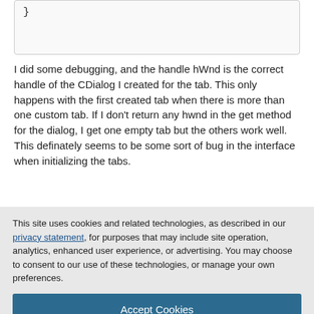}
I did some debugging, and the handle hWnd is the correct handle of the CDialog I created for the tab. This only happens with the first created tab when there is more than one custom tab. If I don't return any hwnd in the get method for the dialog, I get one empty tab but the others work well. This definately seems to be some sort of bug in the interface when initializing the tabs.
Have anyone got this working? I tried with 6.0 and 7.0 and both fail
This site uses cookies and related technologies, as described in our privacy statement, for purposes that may include site operation, analytics, enhanced user experience, or advertising. You may choose to consent to our use of these technologies, or manage your own preferences.
Accept Cookies
More Information
Privacy Policy | Powered by: TrustArc